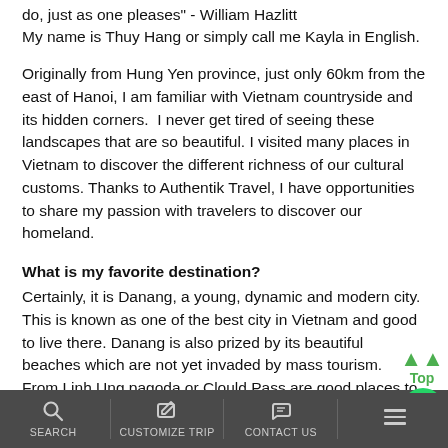do, just as one pleases" - William Hazlitt
My name is Thuy Hang or simply call me Kayla in English.
Originally from Hung Yen province, just only 60km from the east of Hanoi, I am familiar with Vietnam countryside and its hidden corners.  I never get tired of seeing these landscapes that are so beautiful. I visited many places in Vietnam to discover the different richness of our cultural customs. Thanks to Authentik Travel, I have opportunities to share my passion with travelers to discover our homeland.
What is my favorite destination?
Certainly, it is Danang, a young, dynamic and modern city. This is known as one of the best city in Vietnam and good to live there. Danang is also prized by its beautiful beaches which are not yet invaded by mass tourism.
From Linh Ung pagoda or Clould Pass are good places to have a great panorama of the city and long white sandy
SEARCH   CUSTOMIZE TRIP   CONTACT US